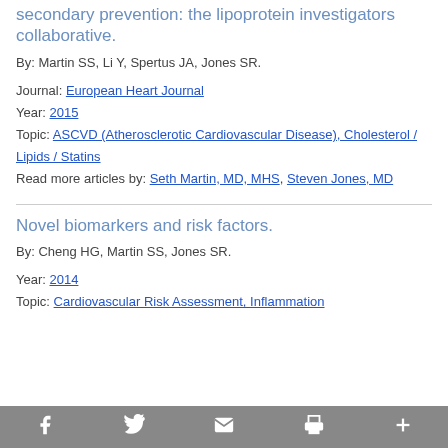secondary prevention: the lipoprotein investigators collaborative.
By: Martin SS, Li Y, Spertus JA, Jones SR.
Journal: European Heart Journal
Year: 2015
Topic: ASCVD (Atherosclerotic Cardiovascular Disease), Cholesterol / Lipids / Statins
Read more articles by: Seth Martin, MD, MHS, Steven Jones, MD
Novel biomarkers and risk factors.
By: Cheng HG, Martin SS, Jones SR.
Year: 2014
Topic: Cardiovascular Risk Assessment, Inflammation
Facebook Twitter Email Print More